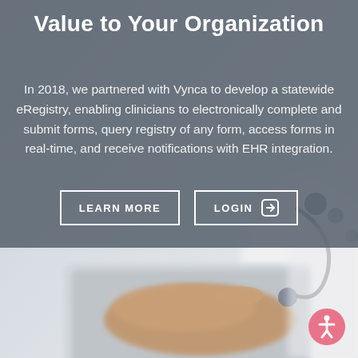Value to Your Organization
In 2018, we partnered with Vynca to develop a statewide eRegistry, enabling clinicians to electronically complete and submit forms, query registry of any form, access forms in real-time, and receive notifications with EHR integration.
[Figure (photo): Medical professional using a tablet with a stethoscope visible, wearing white coat, blurred background]
[Figure (other): Two interactive buttons: LEARN MORE and LOGIN with arrow icon]